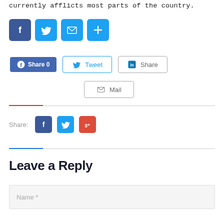currently afflicts most parts of the country.
[Figure (infographic): Social media share icons: Facebook (blue), Twitter (blue bird), Email (blue envelope), More/Plus (blue plus sign)]
[Figure (infographic): Share buttons row: Facebook Share 0, Tweet (Twitter), Share (LinkedIn), Mail]
[Figure (infographic): Share row with label 'Share:' followed by small Facebook, Twitter, and Google+ icons]
Leave a Reply
[Figure (screenshot): Name input field with placeholder text 'Name *']